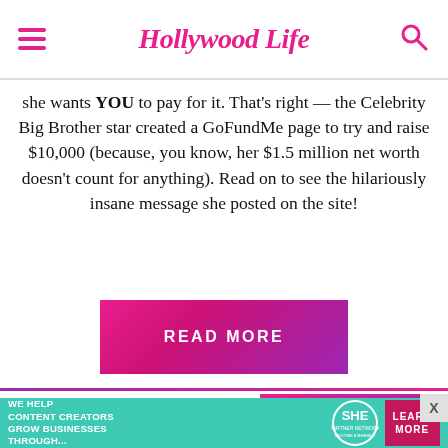HollywoodLife
she wants YOU to pay for it. That’s right — the Celebrity Big Brother star created a GoFundMe page to try and raise $10,000 (because, you know, her $1.5 million net worth doesn’t count for anything). Read on to see the hilariously insane message she posted on the site!
READ MORE
NEXT
MORE FROM OUR PARTNERS
[Figure (photo): Woman with glasses sitting at desk, blurred background with colorful items]
[Figure (infographic): Advertisement banner: WE HELP CONTENT CREATORS GROW BUSINESSES THROUGH... SHE PARTNER NETWORK BECOME A MEMBER with LEARN MORE button]